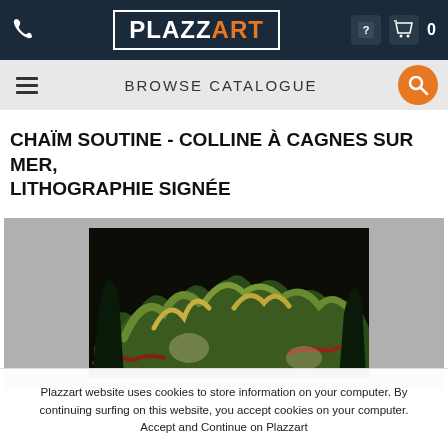PLAZZART - Browse Catalogue
CHAÏM SOUTINE - COLLINE À CAGNES SUR MER, LITHOGRAPHIE SIGNÉE
[Figure (photo): A dark, expressionist lithograph showing a dense landscape with twisted green and yellow foliage and forms, attributed to Chaïm Soutine, displayed against a grey background.]
Plazzart website uses cookies to store information on your computer. By continuing surfing on this website, you accept cookies on your computer. Accept and Continue on Plazzart